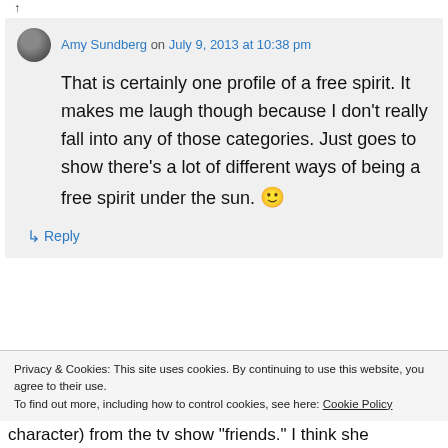reply
Amy Sundberg on July 9, 2013 at 10:38 pm
That is certainly one profile of a free spirit. It makes me laugh though because I don't really fall into any of those categories. Just goes to show there's a lot of different ways of being a free spirit under the sun. 🙂
↳ Reply
Privacy & Cookies: This site uses cookies. By continuing to use this website, you agree to their use.
To find out more, including how to control cookies, see here: Cookie Policy
Close and accept
character) from the tv show "friends." I think she